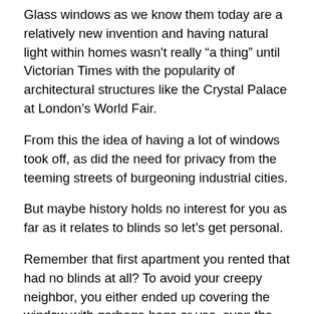Glass windows as we know them today are a relatively new invention and having natural light within homes wasn't really “a thing” until Victorian Times with the popularity of architectural structures like the Crystal Palace at London’s World Fair.
From this the idea of having a lot of windows took off, as did the need for privacy from the teeming streets of burgeoning industrial cities.
But maybe history holds no interest for you as far as it relates to blinds so let’s get personal.
Remember that first apartment you rented that had no blinds at all? To avoid your creepy neighbor, you either ended up covering the window with garbage bags or yes, even the Canadian Flag. See? You notice blinds when you DON’T have them.